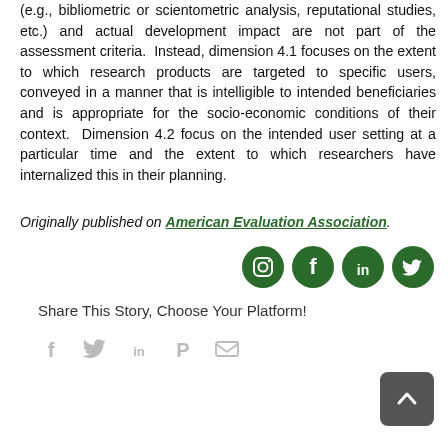(e.g., bibliometric or scientometric analysis, reputational studies, etc.) and actual development impact are not part of the assessment criteria.  Instead, dimension 4.1 focuses on the extent to which research products are targeted to specific users, conveyed in a manner that is intelligible to intended beneficiaries and is appropriate for the socio-economic conditions of their context.  Dimension 4.2 focus on the intended user setting at a particular time and the extent to which researchers have internalized this in their planning.
Originally published on American Evaluation Association.
[Figure (infographic): Four green circular social media icons: Instagram, Facebook, LinkedIn, Twitter]
Share This Story, Choose Your Platform!
[Figure (infographic): Social sharing icons: Facebook, Twitter, LinkedIn, Pinterest, Email]
[Figure (infographic): Back to top button (dark grey rounded square with upward chevron arrow)]